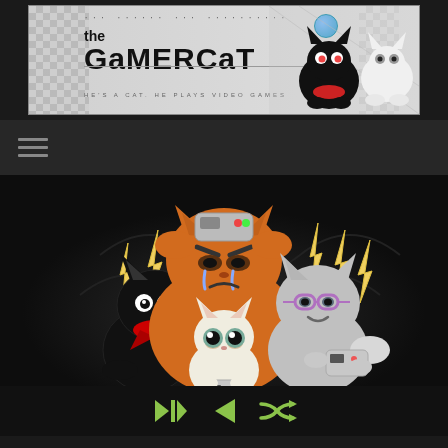[Figure (logo): The GaMERCaT webcomic banner logo with cartoon cat characters on a light gray checkered background. Text reads 'the GaMERCaT' with subtitle 'HE'S A CAT. HE PLAYS VIDEO GAMES'. Black and white cat characters visible on the right side of the banner.]
[Figure (illustration): Navigation bar with hamburger menu icon (three horizontal lines) on dark background.]
[Figure (illustration): Comic illustration of four cartoon cats on a dark background. Center: large orange cat looking frustrated/angry with tears, holding its head. Front center: small white/cream kitten playing a handheld game console. Left: black cat with red bandana scarf. Right: gray cat with purple glasses holding a handheld console. Yellow lightning bolt symbols radiate around them indicating tension/excitement.]
[Figure (illustration): Bottom navigation controls with green icons: skip-to-start arrow, back arrow, and shuffle/random icon.]